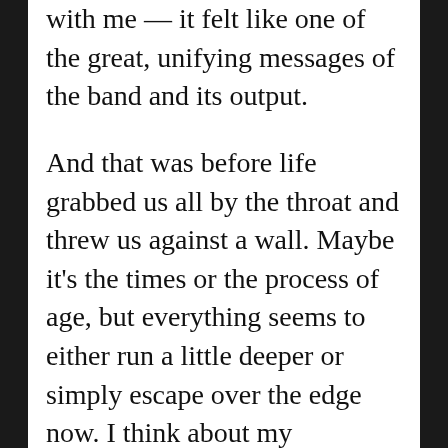with me — it felt like one of the great, unifying messages of the band and its output.
And that was before life grabbed us all by the throat and threw us against a wall. Maybe it's the times or the process of age, but everything seems to either run a little deeper or simply escape over the edge now. I think about my (admittedly mild in the grand scheme) struggles through the years, and I think about Eddie going through hell in a gas can and out again, and the weights every one of those fans carried into the building, all of them looking for an escape and an outlet and simply an excuse to not worry for a few hours and enjoy the festivities.